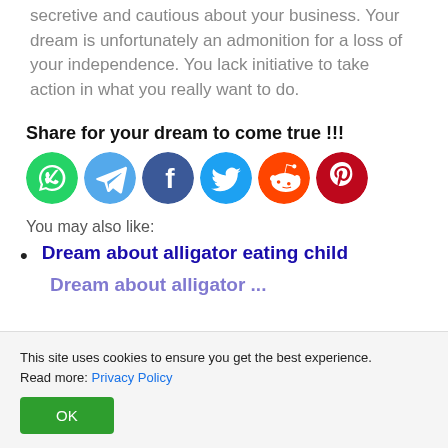secretive and cautious about your business. Your dream is unfortunately an admonition for a loss of your independence. You lack initiative to take action in what you really want to do.
Share for your dream to come true !!!
[Figure (infographic): Row of 6 social media sharing icons: WhatsApp (green), Telegram (light blue), Facebook (dark blue), Twitter (blue), Reddit (orange), Pinterest (dark red)]
You may also like:
Dream about alligator eating child
(partially visible cut-off line)
This site uses cookies to ensure you get the best experience. Read more: Privacy Policy
OK